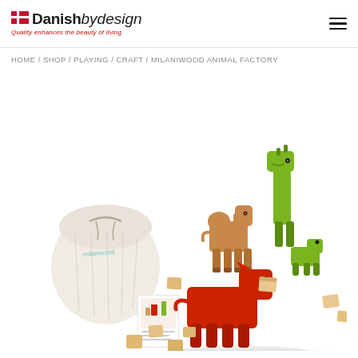[Figure (logo): Danish by design logo with Danish flag icon and tagline 'Quality enhances the beauty of living']
HOME / SHOP / PLAYING / CRAFT / MILANIWOOD ANIMAL FACTORY
[Figure (photo): Milaniwood Animal Factory wooden toy set showing a brown camel, green dinosaur-like animal, red animal, wooden blocks in various shapes, a white fabric bag, and an instruction booklet, all on a white background]